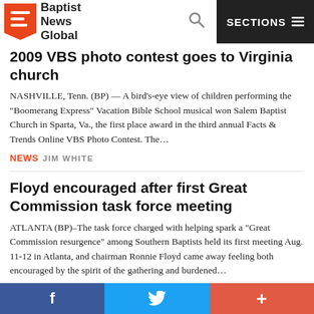Baptist News Global — SECTIONS
2009 VBS photo contest goes to Virginia church
NASHVILLE, Tenn. (BP) — A bird's-eye view of children performing the "Boomerang Express" Vacation Bible School musical won Salem Baptist Church in Sparta, Va., the first place award in the third annual Facts & Trends Online VBS Photo Contest. The…
NEWS  JIM WHITE
Floyd encouraged after first Great Commission task force meeting
ATLANTA (BP)–The task force charged with helping spark a "Great Commission resurgence" among Southern Baptists held its first meeting Aug. 11-12 in Atlanta, and chairman Ronnie Floyd came away feeling both encouraged by the spirit of the gathering and burdened…
NEWS  JIM WHITE
Financial management grads cite spiritual, as well as financial wins
f   🐦   +